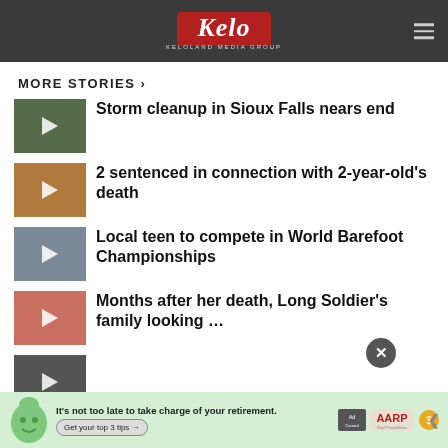KELOLAND MEDIA GROUP
MORE STORIES ›
Storm cleanup in Sioux Falls nears end
2 sentenced in connection with 2-year-old’s death
Local teen to compete in World Barefoot Championships
Months after her death, Long Soldier’s family looking …
[Figure (screenshot): Advertisement banner: AARP retirement tips ad with green cartoon face character, Ad Council and AARP logos]